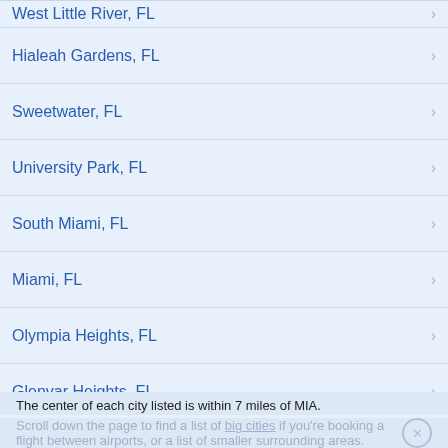West Little River, FL
Hialeah Gardens, FL
Sweetwater, FL
University Park, FL
South Miami, FL
Miami, FL
Olympia Heights, FL
Glenvar Heights, FL
Westview, FL
The center of each city listed is within 7 miles of MIA.
Scroll down the page to find a list of big cities if you're booking a flight between airports, or a list of smaller surrounding areas.